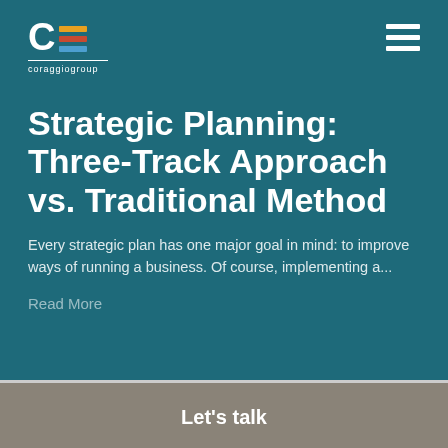[Figure (logo): Coraggio Group logo with a bold C and three colored horizontal lines (orange, red, blue), and the text 'coraggiogroup' below]
Strategic Planning: Three-Track Approach vs. Traditional Method
Every strategic plan has one major goal in mind: to improve ways of running a business. Of course, implementing a...
Read More
Let's talk